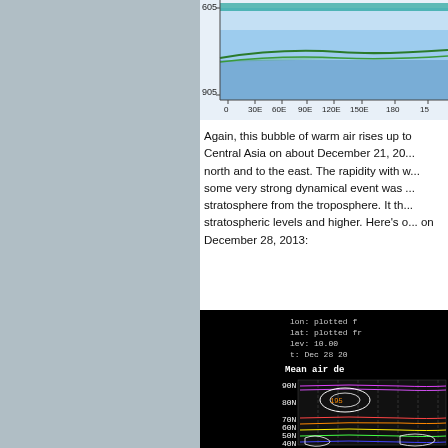[Figure (continuous-plot): Partial atmospheric cross-section plot showing pressure levels (605 to 905 hPa) versus longitude (0 to 180+), with colored contours on a light background representing temperature or wind data over Asia.]
Again, this bubble of warm air rises up to Central Asia on about December 21, 20... north and to the east. The rapidity with w... some very strong dynamical event was ... stratosphere from the troposphere. It th... stratospheric levels and higher. Here's o... on December 28, 2013:
[Figure (continuous-plot): Mean air density map at 10 hPa level for Dec 28 2013, showing polar stereographic projection with contour lines. Labels: lon: plotted f..., lat: plotted fr..., lev: 10.00, t: Dec 28 20..., Mean air de... Latitude labels: 90N, 80N, 70N, 60N, 50N, 40N visible.]